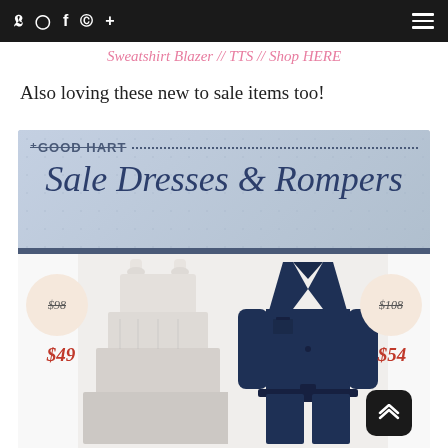Twitter Instagram Facebook Pinterest + [hamburger menu]
Sweatshirt Blazer // TTS // Shop HERE
Also loving these new to sale items too!
[Figure (infographic): Good Hart Sale Dresses & Rompers banner with light blue background and dotted line design]
[Figure (photo): White ruffle-strap tiered maxi dress with original price $98 crossed out and sale price $49 in red]
[Figure (photo): Navy blue long-sleeve belted romper/jumpsuit with original price $108 crossed out and sale price $54 in red]